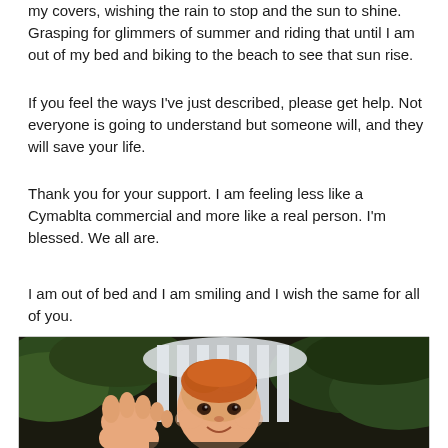my covers, wishing the rain to stop and the sun to shine. Grasping for glimmers of summer and riding that until I am out of my bed and biking to the beach to see that sun rise.
If you feel the ways I've just described, please get help. Not everyone is going to understand but someone will, and they will save your life.
Thank you for your support. I am feeling less like a Cymablta commercial and more like a real person. I'm blessed. We all are.
I am out of bed and I am smiling and I wish the same for all of you.
[Figure (photo): A smiling red-haired baby reaching toward the camera, seated in front of a white wooden chair/bench with green trees visible in the background.]